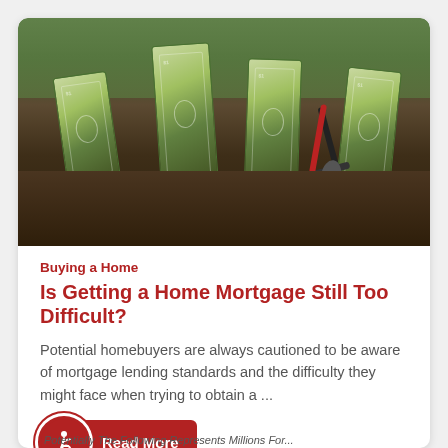[Figure (photo): Photo of folded US dollar bills planted in dark soil like plants, with small garden rake/cultivator tools beside them, green foliage in background]
Buying a Home
Is Getting a Home Mortgage Still Too Difficult?
Potential homebuyers are always cautioned to be aware of mortgage lending standards and the difficulty they might face when trying to obtain a ...
Read More